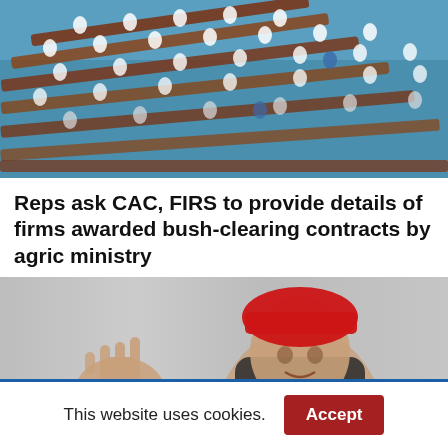[Figure (photo): Aerial/overhead view of a parliament or legislative chamber with rows of wooden desks and people seated, blue flooring visible]
Reps ask CAC, FIRS to provide details of firms awarded bush-clearing contracts by agric ministry
[Figure (photo): Man wearing a red traditional cap, gesturing with his hand, against a grey/white background]
Tax expertise you can trust
This website uses cookies.
Accept